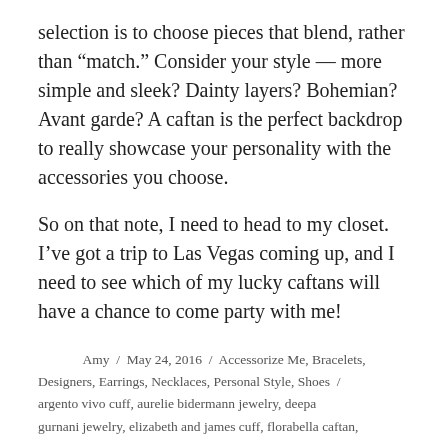selection is to choose pieces that blend, rather than “match.” Consider your style — more simple and sleek? Dainty layers? Bohemian? Avant garde? A caftan is the perfect backdrop to really showcase your personality with the accessories you choose.
So on that note, I need to head to my closet. I’ve got a trip to Las Vegas coming up, and I need to see which of my lucky caftans will have a chance to come party with me!
Amy / May 24, 2016 / Accessorize Me, Bracelets, Designers, Earrings, Necklaces, Personal Style, Shoes / argento vivo cuff, aurelie bidermann jewelry, deepa gurnani jewelry, elizabeth and james cuff, florabella caftan,